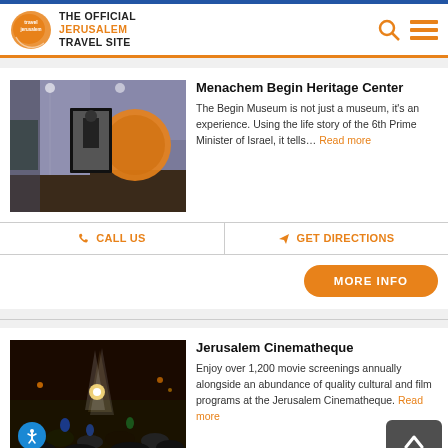THE OFFICIAL JERUSALEM TRAVEL SITE
Menachem Begin Heritage Center
The Begin Museum is not just a museum, it's an experience. Using the life story of the 6th Prime Minister of Israel, it tells… Read more
CALL US | GET DIRECTIONS
MORE INFO
Jerusalem Cinematheque
Enjoy over 1,200 movie screenings annually alongside an abundance of quality cultural and film programs at the Jerusalem Cinematheque. Read more